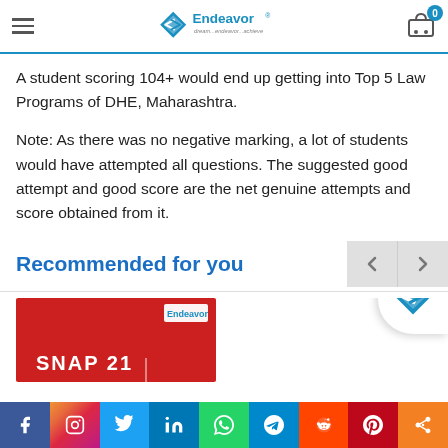Endeavor — dream...endeavor...achieve
A student scoring 104+ would end up getting into Top 5 Law Programs of DHE, Maharashtra.
Note: As there was no negative marking, a lot of students would have attempted all questions. The suggested good attempt and good score are the net genuine attempts and score obtained from it.
Recommended for you
[Figure (screenshot): Product card showing SNAP 21 book cover in red with Endeavor logo]
Social share bar: Facebook, Instagram, Twitter, LinkedIn, WhatsApp, Telegram, Reddit, Pinterest, Share